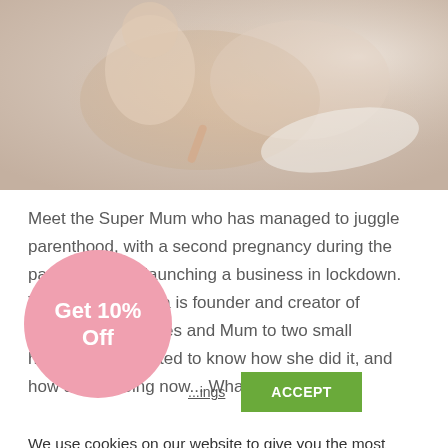[Figure (photo): Photo of a mother and baby/child reading a book together, lying down, soft warm tones]
Meet the Super Mum who has managed to juggle parenthood, with a second pregnancy during the pandemic, and launching a business in lockdown. The lovely Gemma is founder and creator of Cheeky Little Smiles and Mum to two small humans. We wanted to know how she did it, and how she is doing now... What [...]
We use cookies on our website to give you the most relevant experience by remembering your preferences and repeat visits. By clicking "Accept", you consent to the use of cookies.
[Figure (infographic): Pink circle badge with text 'Get 10% Off']
Settings
ACCEPT